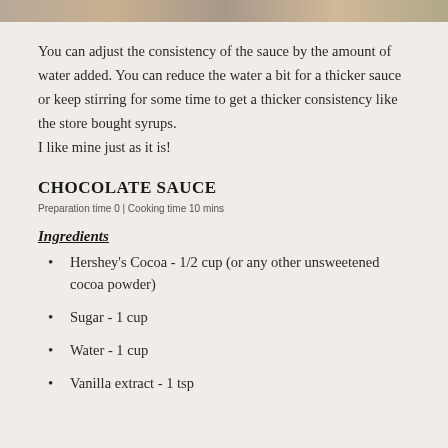[Figure (photo): Partial photo strip at the top of the page, appears to show food or sauce]
You can adjust the consistency of the sauce by the amount of water added. You can reduce the water a bit for a thicker sauce or keep stirring for some time to get a thicker consistency like the store bought syrups.
I like mine just as it is!
CHOCOLATE SAUCE
Preparation time 0 | Cooking time 10 mins
Ingredients
Hershey's Cocoa - 1/2 cup (or any other unsweetened cocoa powder)
Sugar - 1 cup
Water - 1 cup
Vanilla extract - 1 tsp